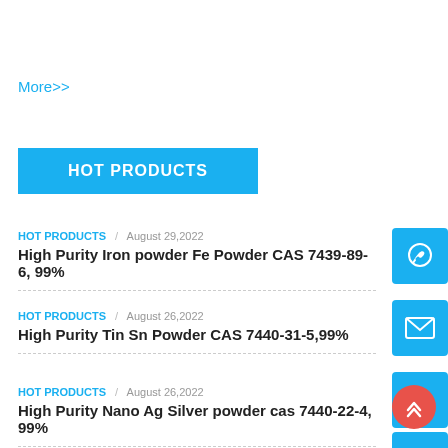More>>
HOT PRODUCTS
HOT PRODUCTS / August 29,2022
High Purity Iron powder Fe Powder CAS 7439-89-6, 99%
HOT PRODUCTS / August 26,2022
High Purity Tin Sn Powder CAS 7440-31-5,99%
HOT PRODUCTS / August 26,2022
High Purity Nano Ag Silver powder cas 7440-22-4, 99%